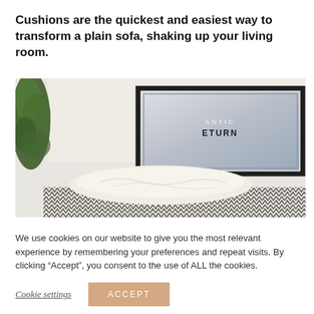Cushions are the quickest and easiest way to transform a plain sofa, shaking up your living room.
[Figure (photo): A minimalist living room scene showing a framed wall art print, a fluffy/furry cushion on a sofa with a chevron patterned throw blanket, and a green plant on the left. Light, neutral tones throughout.]
We use cookies on our website to give you the most relevant experience by remembering your preferences and repeat visits. By clicking “Accept”, you consent to the use of ALL the cookies.
Cookie settings
ACCEPT